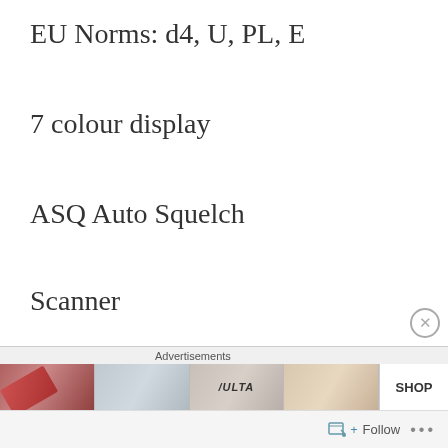EU Norms: d4, U, PL, E
7 colour display
ASQ Auto Squelch
Scanner
12w Possible
Export Mode A-E
[Figure (screenshot): Advertisement banner with beauty/makeup product images and SHOP button, plus Advertisements label above]
Follow ...